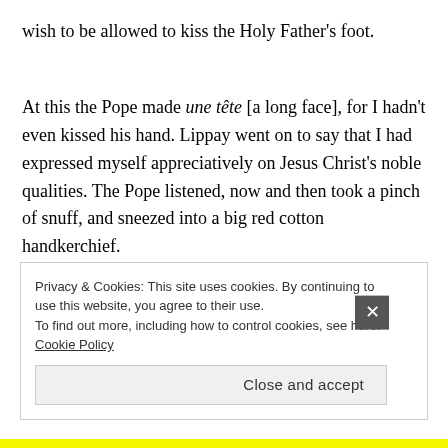wish to be allowed to kiss the Holy Father’s foot.
At this the Pope made une tête [a long face], for I hadn’t even kissed his hand. Lippay went on to say that I had expressed myself appreciatively on Jesus Christ’s noble qualities. The Pope listened, now and then took a pinch of snuff, and sneezed into a big red cotton handkerchief.
Privacy & Cookies: This site uses cookies. By continuing to use this website, you agree to their use.
To find out more, including how to control cookies, see here: Cookie Policy
Close and accept